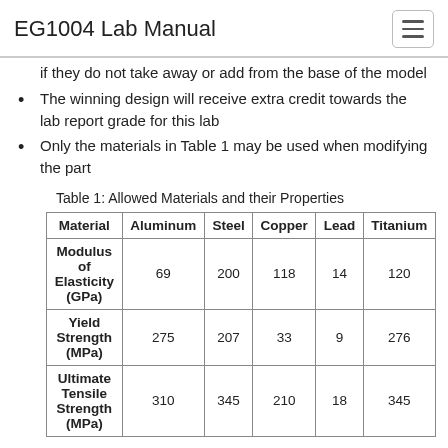EG1004 Lab Manual
if they do not take away or add from the base of the model
The winning design will receive extra credit towards the lab report grade for this lab
Only the materials in Table 1 may be used when modifying the part
Table 1: Allowed Materials and their Properties
| Material | Aluminum | Steel | Copper | Lead | Titanium |
| --- | --- | --- | --- | --- | --- |
| Modulus of Elasticity (GPa) | 69 | 200 | 118 | 14 | 120 |
| Yield Strength (MPa) | 275 | 207 | 33 | 9 | 276 |
| Ultimate Tensile Strength (MPa) | 310 | 345 | 210 | 18 | 345 |